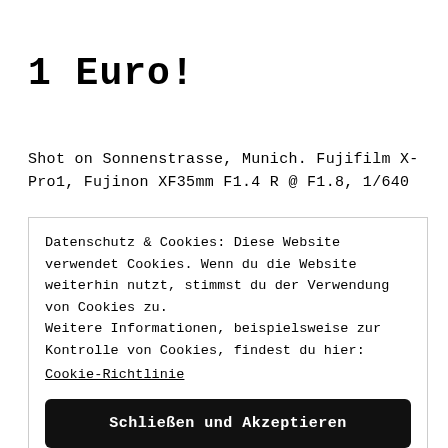1 Euro!
Shot on Sonnenstrasse, Munich. Fujifilm X-Pro1, Fujinon XF35mm F1.4 R @ F1.8, 1/640
Datenschutz & Cookies: Diese Website verwendet Cookies. Wenn du die Website weiterhin nutzt, stimmst du der Verwendung von Cookies zu.
Weitere Informationen, beispielsweise zur Kontrolle von Cookies, findest du hier:
Cookie-Richtlinie
Schließen und Akzeptieren